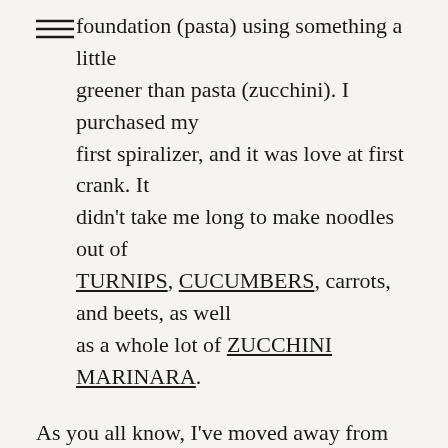foundation (pasta) using something a little greener than pasta (zucchini). I purchased my first spiralizer, and it was love at first crank. It didn't take me long to make noodles out of TURNIPS, CUCUMBERS, carrots, and beets, as well as a whole lot of ZUCCHINI MARINARA.
As you all know, I've moved away from raw foods significantly, but that doesn't mean that I've parted ways with vegetable noodles. One of the reasons that spiralizing is so popular is that it isn't specific to a particular eating style. It appeals to raw foodies because it's an uncooked, vegetable-based alternative to noodles. It appeals to paleo eaters because it offers a grain free approach to pasta recipes. It's popular with folks who are trying to eat more vegetables because it helps to make veggies feel playful and different. The spiralizer has something to offer everyone...